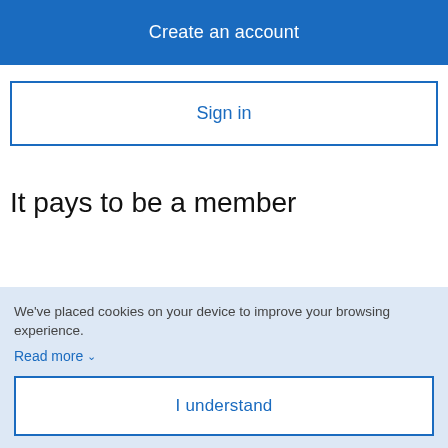Create an account
Sign in
It pays to be a member
[Figure (illustration): Partial illustration of a blue line-art icon visible at the bottom of the main content area, partially obscured by the cookie banner]
We've placed cookies on your device to improve your browsing experience.
Read more ∨
I understand